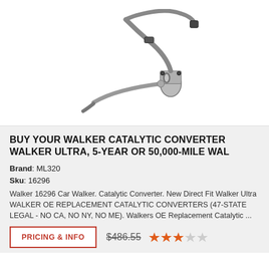[Figure (photo): Catalytic converter part photograph on white background — exhaust pipe assembly with metallic converter housing]
BUY YOUR WALKER CATALYTIC CONVERTER WALKER ULTRA, 5-YEAR OR 50,000-MILE WAL
Brand: ML320
Sku: 16296
Walker 16296 Car Walker. Catalytic Converter. New Direct Fit Walker Ultra WALKER OE REPLACEMENT CATALYTIC CONVERTERS (47-STATE LEGAL - NO CA, NO NY, NO ME). Walkers OE Replacement Catalytic ...
PRICING & INFO
$486.55
[Figure (other): 3 out of 5 stars rating shown as orange and grey star icons]